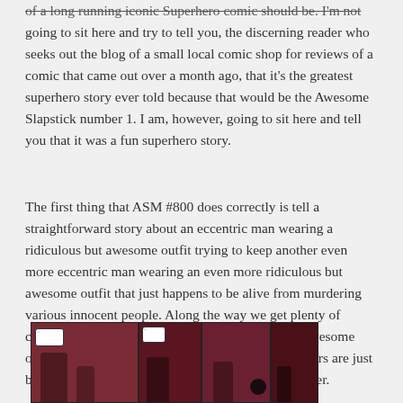of a long running iconic Superhero comic should be. I'm not going to sit here and try to tell you, the discerning reader who seeks out the blog of a small local comic shop for reviews of a comic that came out over a month ago, that it's the greatest superhero story ever told because that would be the Awesome Slapstick number 1. I am, however, going to sit here and tell you that it was a fun superhero story.
The first thing that ASM #800 does correctly is tell a straightforward story about an eccentric man wearing a ridiculous but awesome outfit trying to keep another even more eccentric man wearing an even more ridiculous but awesome outfit that just happens to be alive from murdering various innocent people. Along the way we get plenty of cameos from other people wearing ridiculous but awesome outfits, some of which are sentient outfits while others are just boring old spandex or unstable molecules or whatever.
[Figure (photo): Comic book panels showing superhero characters against a dark red/maroon background, with speech bubbles and action scenes]